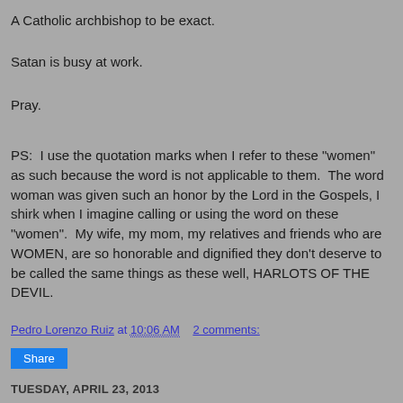A Catholic archbishop to be exact.
Satan is busy at work.
Pray.
PS:  I use the quotation marks when I refer to these "women" as such because the word is not applicable to them.  The word woman was given such an honor by the Lord in the Gospels, I shirk when I imagine calling or using the word on these "women".  My wife, my mom, my relatives and friends who are WOMEN, are so honorable and dignified they don't deserve to be called the same things as these well, HARLOTS OF THE DEVIL.
Pedro Lorenzo Ruiz at 10:06 AM    2 comments:
Share
TUESDAY, APRIL 23, 2013